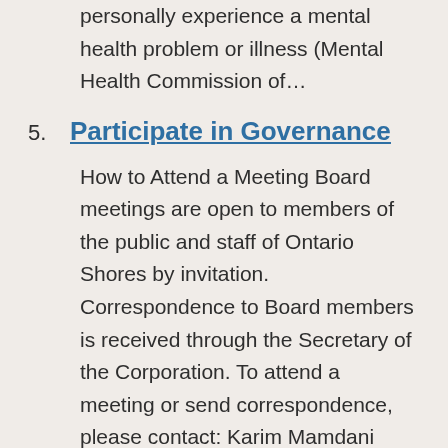personally experience a mental health problem or illness (Mental Health Commission of…
5. Participate in Governance
How to Attend a Meeting Board meetings are open to members of the public and staff of Ontario Shores by invitation. Correspondence to Board members is received through the Secretary of the Corporation. To attend a meeting or send correspondence, please contact: Karim Mamdani President and CEO 700…
6. Mental Illnesses
There are many types of mental illnesses